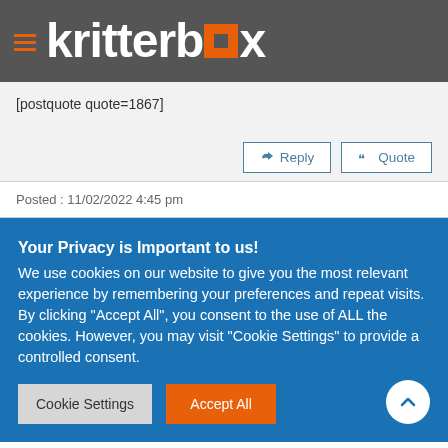kritterbox
[postquote quote=1867]
Reply  Quote
Posted : 11/02/2022 4:45 pm
Your Privacy is Important to us! We use cookies on our website to give you the most relevant experience by remembering your preferences and repeat visits. By clicking "Accept All", you consent to the use of ALL the cookies. However, you may visit "Cookie Settings" to provide a controlled consent.
Cookie Settings  Accept All